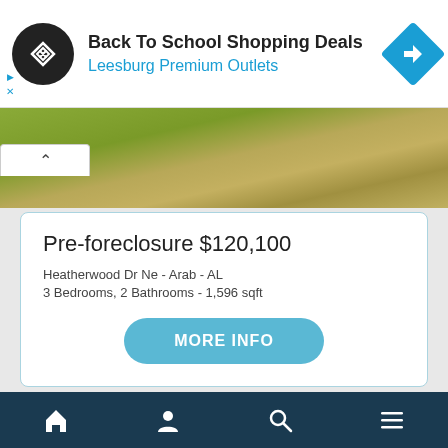[Figure (screenshot): Ad banner: Back To School Shopping Deals at Leesburg Premium Outlets with logo and direction icon]
[Figure (photo): Partial property photo showing grass and dirt/stone path]
Pre-foreclosure $120,100
Heatherwood Dr Ne - Arab - AL
3 Bedrooms, 2 Bathrooms - 1,596 sqft
[Figure (screenshot): MORE INFO button]
[Figure (photo): Second advertisement with trees and sky photo]
[Figure (screenshot): Bottom navigation bar with home, person, search, and menu icons]